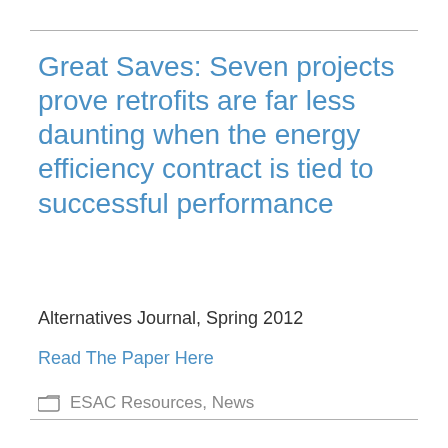Great Saves: Seven projects prove retrofits are far less daunting when the energy efficiency contract is tied to successful performance
Alternatives Journal, Spring 2012
Read The Paper Here
ESAC Resources, News